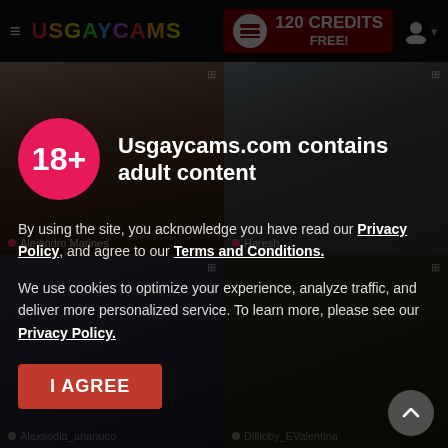≡ USGAYCAMS  120 CREDITS FREE!
[Figure (screenshot): Two live cam thumbnail photos side by side: left shows a young man from behind on a bed, right shows a bearded man facing camera. Labels: Alejandro Marines, Haresh.]
Usgaycams.com contains adult content
By using the site, you acknowledge you have read our Privacy Policy, and agree to our Terms and Conditions.
We use cookies to optimize your experience, analyze traffic, and deliver more personalized service. To learn more, please see our Privacy Policy.
I AGREE